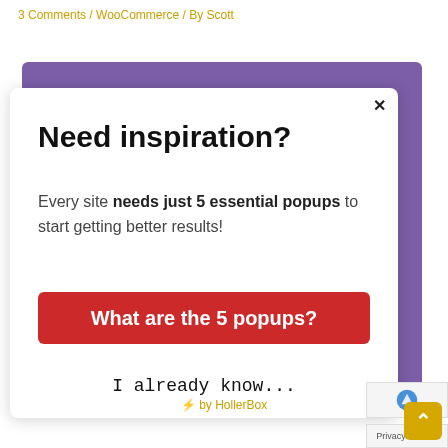3 Comments / WooCommerce / By Scott
[Figure (screenshot): A popup modal on a purple background with title 'Need inspiration?', body text 'Every site needs just 5 essential popups to start getting better results!', a red CTA button 'What are the 5 popups?', and a link 'I already know...' Below is a HollerBox branding bar and a scroll-to-top button.]
I already know...
⚡ by HollerBox